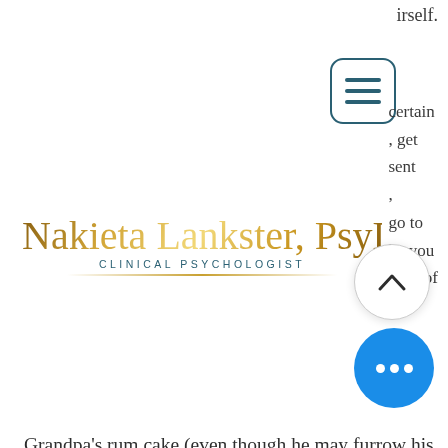irself.
[Figure (screenshot): Hamburger menu button icon with three horizontal lines, dark teal border and rounded rectangle outline]
certain
, get
sent
,
go to
ke you
slice of
[Figure (logo): Nakieta Lankster, PsyD - Clinical Psychologist script logo in gold with teal subtitle text]
Grandpa's rum cake (even though he may furrow his brow at you).
And last, but not least, balancing your true emotions while reaching out to others, as well as tuning into your inner rebel, may also remind you that no one's holidays (or lives, for that matter) can ever match the nostalgic harmony of "Little House on the Prairie". Holiday melancholy or not, no one has the
[Figure (other): Scroll to top chevron button (circle with up arrow)]
[Figure (other): Blue circle button with three white dots (more options)]